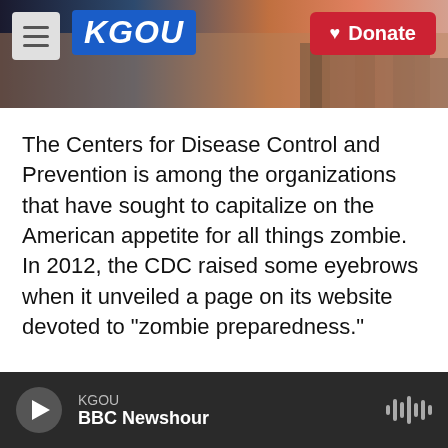KGOU — Donate
The Centers for Disease Control and Prevention is among the organizations that have sought to capitalize on the American appetite for all things zombie. In 2012, the CDC raised some eyebrows when it unveiled a page on its website devoted to "zombie preparedness."
On the page, the CDC's director of the Office of Public Health Preparedness and Response, Dr. Ali Khan, notes, "If you are generally well equipped to deal with a zombie apocalypse you will be prepared for a hurricane, pandemic, earthquake, or terrorist
KGOU — BBC Newshour